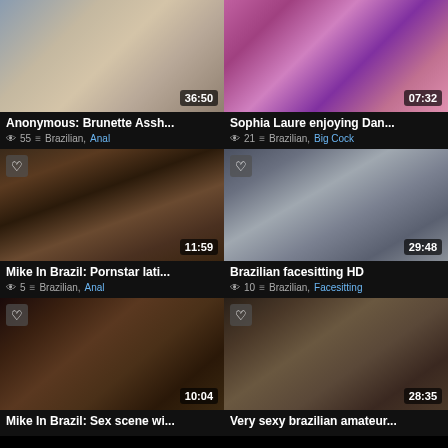[Figure (screenshot): Video thumbnail grid showing 6 adult video thumbnails with titles, view counts, categories, and durations]
Anonymous: Brunette Assh...
55  Brazilian, Anal
Sophia Laure enjoying Dan...
21  Brazilian, Big Cock
Mike In Brazil: Pornstar lati...
5  Brazilian, Anal
Brazilian facesitting HD
10  Brazilian, Facesitting
Mike In Brazil: Sex scene wi...
Very sexy brazilian amateur...